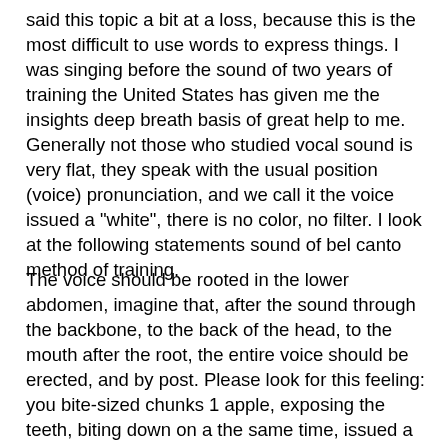said this topic a bit at a loss, because this is the most difficult to use words to express things. I was singing before the sound of two years of training the United States has given me the insights deep breath basis of great help to me. Generally not those who studied vocal sound is very flat, they speak with the usual position (voice) pronunciation, and we call it the voice issued a "white", there is no color, no filter. I look at the following statements sound of bel canto method of training.
The voice should be rooted in the lower abdomen, imagine that, after the sound through the backbone, to the back of the head, to the mouth after the root, the entire voice should be erected, and by post. Please look for this feeling: you bite-sized chunks 1 apple, exposing the teeth, biting down on a the same time, issued a "ah" sound, feel the sound in the back of the mouth and the location of the upper nasal cavity, which is beautiful acoustic sound of the a resonance point. Next, the breath sink, abdominal swelling, slightly harder one in the lower abdomen, in my earlier position of voice, male Adam's apple...